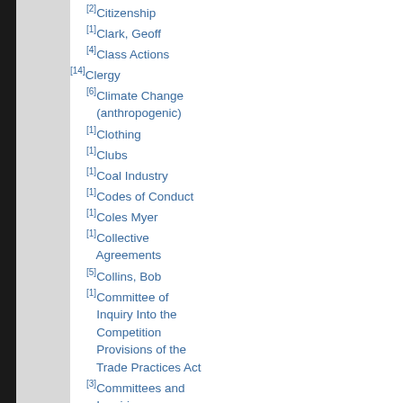[2]Citizenship
[1]Clark, Geoff
[4]Class Actions
[14]Clergy
[6]Climate Change (anthropogenic)
[1]Clothing
[1]Clubs
[1]Coal Industry
[1]Codes of Conduct
[1]Coles Myer
[1]Collective Agreements
[5]Collins, Bob
[1]Committee of Inquiry Into the Competition Provisions of the Trade Practices Act
[3]Committees and Inquiries
[2]Commodity Marketing
[1]Commonwealth Heads of Government Meetings
[1]Communicable Diseases